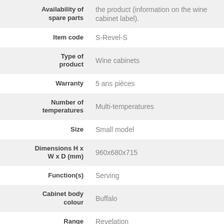| Attribute | Value |
| --- | --- |
| Availability of spare parts | the product (information on the wine cabinet label). |
| Item code | S-Revel-S |
| Type of product | Wine cabinets |
| Warranty | 5 ans pièces |
| Number of temperatures | Multi-temperatures |
| Size | Small model |
| Dimensions H x W x D (mm) | 960x680x715 |
| Function(s) | Serving |
| Cabinet body colour | Buffalo |
| Range | Revelation |
| Features |  |
| Door details | Full glass (no frame) |